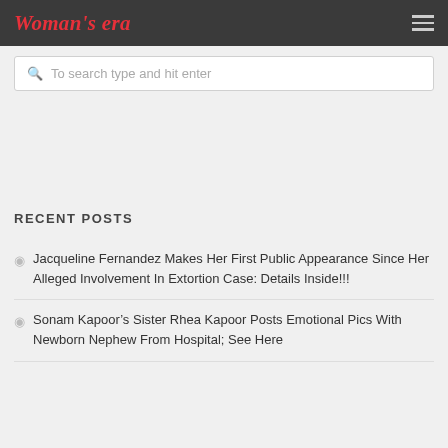Woman's era
To search type and hit enter
RECENT POSTS
Jacqueline Fernandez Makes Her First Public Appearance Since Her Alleged Involvement In Extortion Case: Details Inside!!!
Sonam Kapoor's Sister Rhea Kapoor Posts Emotional Pics With Newborn Nephew From Hospital; See Here